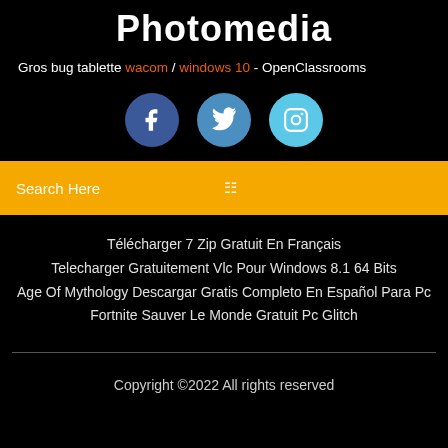Photomedia
Gros bug tablette wacom / windows 10 - OpenClassrooms
[Figure (other): Three social media icons: Facebook (dark blue circle with f), Twitter (medium blue circle with bird), Instagram (light blue circle with camera outline)]
Search Here
Télécharger 7 Zip Gratuit En Français
Telecharger Gratuitement Vlc Pour Windows 8.1 64 Bits
Age Of Mythology Descargar Gratis Completo En Español Para Pc
Fortnite Sauver Le Monde Gratuit Pc Glitch
Copyright ©2022 All rights reserved